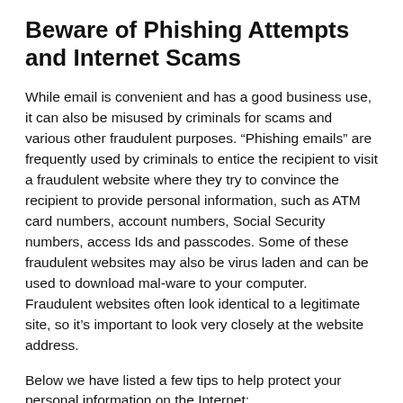Beware of Phishing Attempts and Internet Scams
While email is convenient and has a good business use, it can also be misused by criminals for scams and various other fraudulent purposes. “Phishing emails” are frequently used by criminals to entice the recipient to visit a fraudulent website where they try to convince the recipient to provide personal information, such as ATM card numbers, account numbers, Social Security numbers, access Ids and passcodes. Some of these fraudulent websites may also be virus laden and can be used to download mal-ware to your computer. Fraudulent websites often look identical to a legitimate site, so it’s important to look very closely at the website address.
Below we have listed a few tips to help protect your personal information on the Internet:
Always be wary of links in emails, especially any links in emails purporting to be from this Institution.